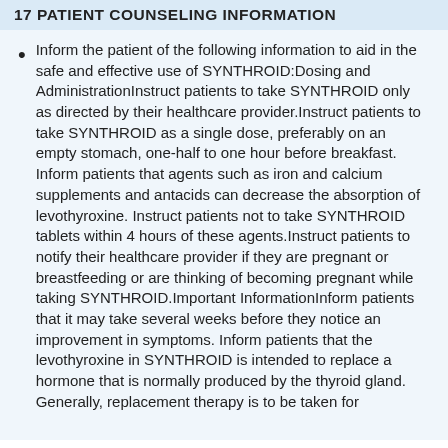17 PATIENT COUNSELING INFORMATION
Inform the patient of the following information to aid in the safe and effective use of SYNTHROID:Dosing and AdministrationInstruct patients to take SYNTHROID only as directed by their healthcare provider.Instruct patients to take SYNTHROID as a single dose, preferably on an empty stomach, one-half to one hour before breakfast. Inform patients that agents such as iron and calcium supplements and antacids can decrease the absorption of levothyroxine. Instruct patients not to take SYNTHROID tablets within 4 hours of these agents.Instruct patients to notify their healthcare provider if they are pregnant or breastfeeding or are thinking of becoming pregnant while taking SYNTHROID.Important InformationInform patients that it may take several weeks before they notice an improvement in symptoms. Inform patients that the levothyroxine in SYNTHROID is intended to replace a hormone that is normally produced by the thyroid gland. Generally, replacement therapy is to be taken for